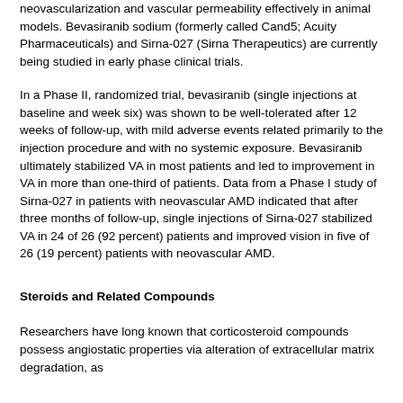neovascularization and vascular permeability effectively in animal models. Bevasiranib sodium (formerly called Cand5; Acuity Pharmaceuticals) and Sirna-027 (Sirna Therapeutics) are currently being studied in early phase clinical trials.
In a Phase II, randomized trial, bevasiranib (single injections at baseline and week six) was shown to be well-tolerated after 12 weeks of follow-up, with mild adverse events related primarily to the injection procedure and with no systemic exposure. Bevasiranib ultimately stabilized VA in most patients and led to improvement in VA in more than one-third of patients. Data from a Phase I study of Sirna-027 in patients with neovascular AMD indicated that after three months of follow-up, single injections of Sirna-027 stabilized VA in 24 of 26 (92 percent) patients and improved vision in five of 26 (19 percent) patients with neovascular AMD.
Steroids and Related Compounds
Researchers have long known that corticosteroid compounds possess angiostatic properties via alteration of extracellular matrix degradation, as